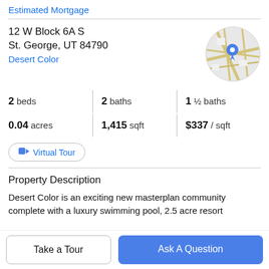Estimated Mortgage
12 W Block 6A S
St. George, UT 84790
Desert Color
[Figure (map): Circular map thumbnail showing a location pin marker over a street map in the St. George, UT area]
2 beds   2 baths   1 ½ baths
0.04 acres   1,415 sqft   $337 / sqft
Virtual Tour
Property Description
Desert Color is an exciting new masterplan community complete with a luxury swimming pool, 2.5 acre resort
Take a Tour
Ask A Question